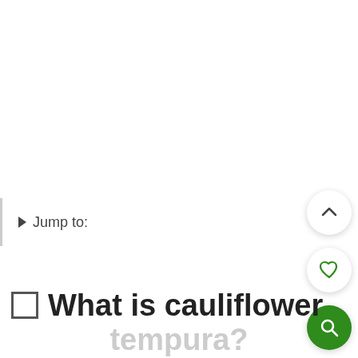▶ Jump to:
[Figure (illustration): Circular up-chevron button (white background, dark chevron icon)]
[Figure (illustration): Circular heart/favorite button (white background, green heart outline icon)]
[Figure (illustration): Circular search button (green background, white magnifying glass icon)]
□ What is cauliflower tempura?